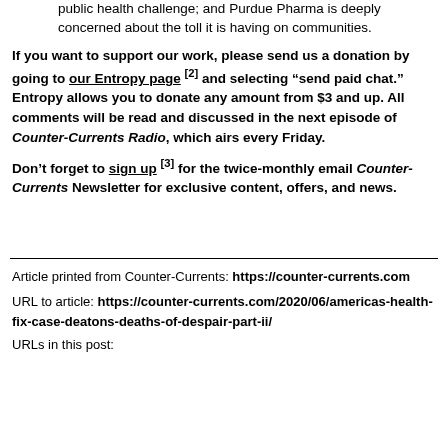public health challenge; and Purdue Pharma is deeply concerned about the toll it is having on communities.
If you want to support our work, please send us a donation by going to our Entropy page [2] and selecting “send paid chat.” Entropy allows you to donate any amount from $3 and up. All comments will be read and discussed in the next episode of Counter-Currents Radio, which airs every Friday.
Don’t forget to sign up [3] for the twice-monthly email Counter-Currents Newsletter for exclusive content, offers, and news.
Article printed from Counter-Currents: https://counter-currents.com
URL to article: https://counter-currents.com/2020/06/americas-health-fix-case-deatons-deaths-of-despair-part-ii/
URLs in this post: